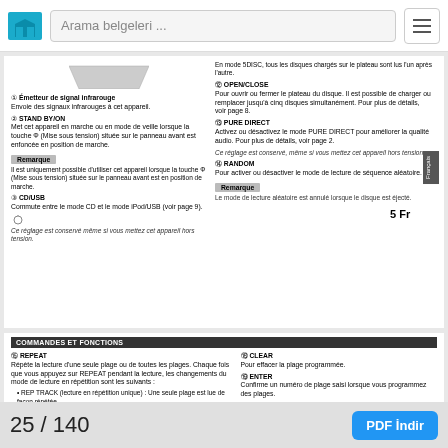Arama belgeleri ...
[Figure (illustration): Decorative trapezoid shape at top of document]
1) Émetteur de signal infrarouge — Envoie des signaux infrarouges à cet appareil.
2) STAND BY/ON — Met cet appareil en marche ou en mode de veille lorsque la touche Φ (Mise sous tension) située sur le panneau avant est enfoncée en position de marche.
Remarque
Il est uniquement possible d'utiliser cet appareil lorsque la touche Φ (Mise sous tension) située sur le panneau avant est en position de marche.
3) CD/USB — Commute entre le mode CD et le mode iPod/USB (voir page 9).
Ce réglage est conservé même si vous mettez cet appareil hors tension.
En mode 5DISC, tous les disques chargés sur le plateau sont lus l'un après l'autre.
12) OPEN/CLOSE — Pour ouvrir ou fermer le plateau du disque. Il est possible de charger ou remplacer jusqu'à cinq disques simultanément. Pour plus de détails, voir page 8.
13) PURE DIRECT — Activez ou désactivez le mode PURE DIRECT pour améliorer la qualité audio. Pour plus de détails, voir page 2.
Ce réglage est conservé, même si vous mettez cet appareil hors tension.
14) RANDOM — Pour activer ou désactiver le mode de lecture de séquence aléatoire.
Remarque
Le mode de lecture aléatoire est annulé lorsque le disque est éjecté.
5 Fr
COMMANDES ET FONCTIONS
15) REPEAT — Répète la lecture d'une seule plage ou de toutes les plages. Chaque fois que vous appuyez sur REPEAT pendant la lecture, les changements du mode de lecture en répétition sont les suivants: • REP TRACK (lecture en répétition unique): Une seule plage est lue de façon répétée.
18) CLEAR — Pour effacer la plage programmée.
19) ENTER — Confirme un numéro de plage saisi lorsque vous programmez des plages.
25 / 140
PDF İndir